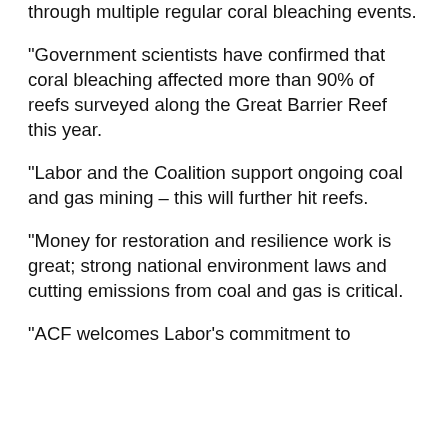through multiple regular coral bleaching events.
“Government scientists have confirmed that coral bleaching affected more than 90% of reefs surveyed along the Great Barrier Reef this year.
“Labor and the Coalition support ongoing coal and gas mining – this will further hit reefs.
“Money for restoration and resilience work is great; strong national environment laws and cutting emissions from coal and gas is critical.
“ACF welcomes Labor’s commitment to